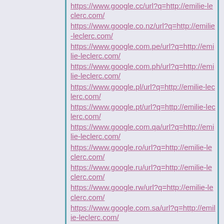https://www.google.co.nz/url?q=http://emilie-leclerc.com/
https://www.google.com.pe/url?q=http://emilie-leclerc.com/
https://www.google.com.ph/url?q=http://emilie-leclerc.com/
https://www.google.pl/url?q=http://emilie-leclerc.com/
https://www.google.pt/url?q=http://emilie-leclerc.com/
https://www.google.com.qa/url?q=http://emilie-leclerc.com/
https://www.google.ro/url?q=http://emilie-leclerc.com/
https://www.google.ru/url?q=http://emilie-leclerc.com/
https://www.google.rw/url?q=http://emilie-leclerc.com/
https://www.google.com.sa/url?q=http://emilie-leclerc.com/
https://www.google.se/url?q=http://emilie-leclerc.com/
https://www.google.com.sg/url?q=http://emilie-leclerc.com/
https://www.google.si/url?q=http://emilie-leclerc.com/
https://www.google.sk/url?q=http://emilie-leclerc.com/